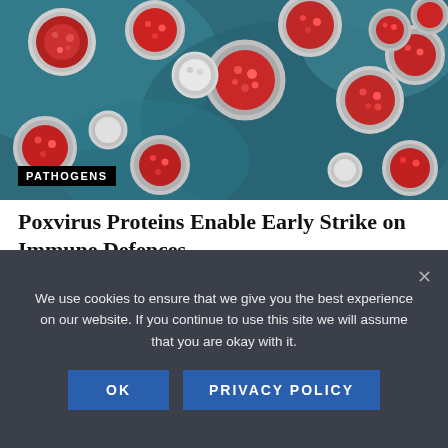[Figure (photo): Colorized electron microscope image of poxvirus particles — circular/oval shapes with red granular centers on a blue background, some appearing white/grey]
PATHOGENS
Poxvirus Proteins Enable Early Strike on Immune Defences
JULY 15, 2022
[Figure (photo): Black and white photo of an animal (appears to be a cow or similar large mammal) partially visible at top of frame against a light sky]
We use cookies to ensure that we give you the best experience on our website. If you continue to use this site we will assume that you are okay with it.